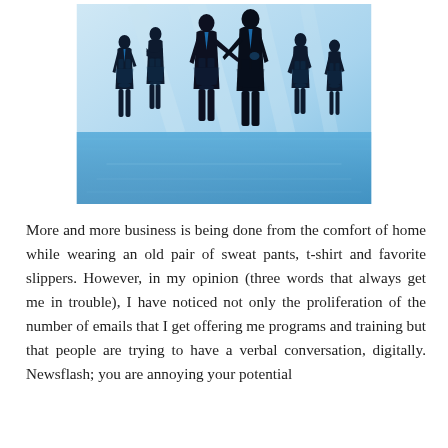[Figure (illustration): Business silhouettes illustration: five people in professional attire against a blue-tinted office background. Two central figures are shaking hands, flanked by two smaller figures on the left and two on the right. The scene is reflected on a glossy blue floor.]
More and more business is being done from the comfort of home while wearing an old pair of sweat pants, t-shirt and favorite slippers. However, in my opinion (three words that always get me in trouble), I have noticed not only the proliferation of the number of emails that I get offering me programs and training but that people are trying to have a verbal conversation, digitally. Newsflash; you are annoying your potential